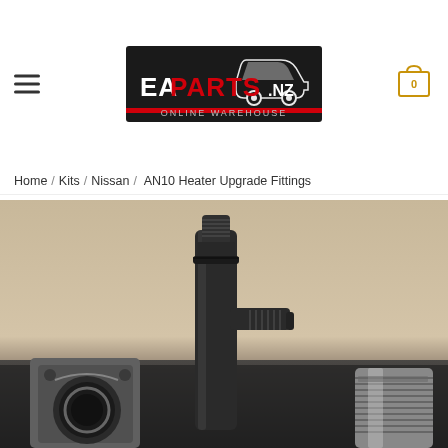EAPARTS.NZ ONLINE WAREHOUSE — navigation header with hamburger menu and cart icon showing 0 items
Home / Kits / Nissan / AN10 Heater Upgrade Fittings
[Figure (photo): Product photo showing black anodized AN10 heater upgrade fittings — a T-fitting with AN male threads on top and side, a silver/stainless AN male fitting on the right, and a black flange adapter on the lower left, photographed on a dark carbon-fiber surface with beige/tan background]